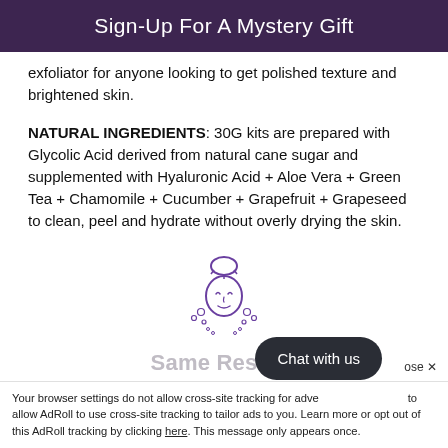Sign-Up For A Mystery Gift
exfoliator for anyone looking to get polished texture and brightened skin.
NATURAL INGREDIENTS: 30G kits are prepared with Glycolic Acid derived from natural cane sugar and supplemented with Hyaluronic Acid + Aloe Vera + Green Tea + Chamomile + Cucumber + Grapefruit + Grapeseed to clean, peel and hydrate without overly drying the skin.
[Figure (illustration): A simple purple line-art illustration of a woman's face with hair in a bun, eyes closed, surrounded by small decorative floral/leaf elements.]
Same Results
Your browser settings do not allow cross-site tracking for advertising. Click here to allow AdRoll to use cross-site tracking to tailor ads to you. Learn more or opt out of this AdRoll tracking by clicking here. This message only appears once.